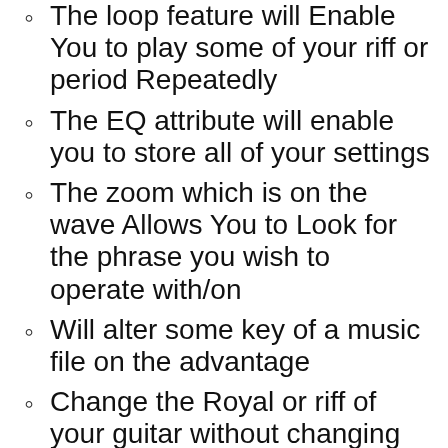The loop feature will Enable You to play some of your riff or period Repeatedly
The EQ attribute will enable you to store all of your settings
The zoom which is on the wave Allows You to Look for the phrase you wish to operate with/on
Will alter some key of a music file on the advantage
Change the Royal or riff of your guitar without changing the tempo. So you do not have to retune your guitar